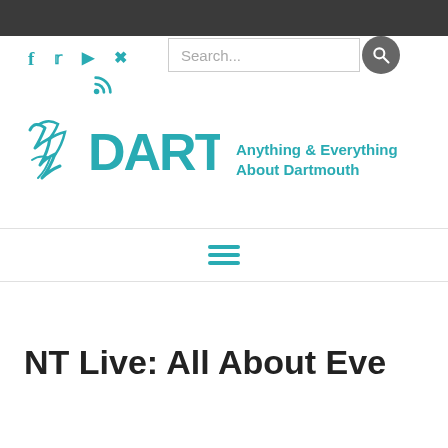[Figure (screenshot): Dark top navigation bar]
[Figure (logo): By The Dart logo with stylized graffiti text and teal DART lettering, alongside tagline 'Anything & Everything About Dartmouth']
[Figure (other): Hamburger menu icon (three horizontal teal lines) centered in a white bar]
NT Live: All About Eve